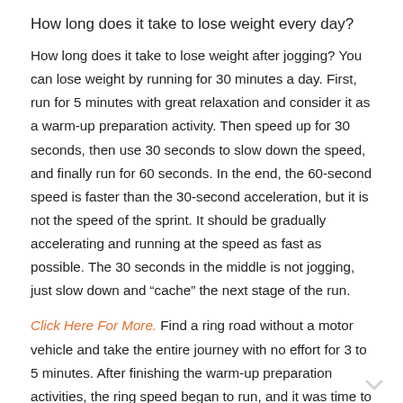How long does it take to lose weight every day?
How long does it take to lose weight after jogging? You can lose weight by running for 30 minutes a day. First, run for 5 minutes with great relaxation and consider it as a warm-up preparation activity. Then speed up for 30 seconds, then use 30 seconds to slow down the speed, and finally run for 60 seconds. In the end, the 60-second speed is faster than the 30-second acceleration, but it is not the speed of the sprint. It should be gradually accelerating and running at the speed as fast as possible. The 30 seconds in the middle is not jogging, just slow down and “cache” the next stage of the run.
Click Here For More. Find a ring road without a motor vehicle and take the entire journey with no effort for 3 to 5 minutes. After finishing the warm-up preparation activities, the ring speed began to run, and it was time to record.